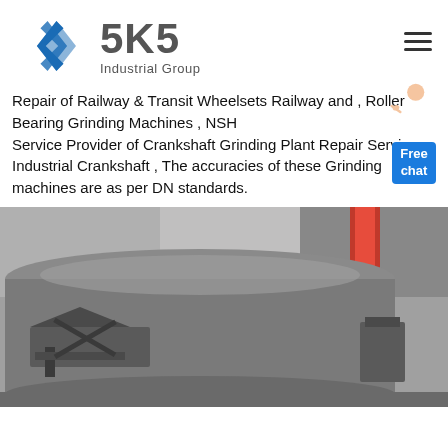[Figure (logo): SKS Industrial Group logo with diamond/arrow icon in blue and grey text]
Repair of Railway & Transit Wheelsets Railway and , Roller Bearing Grinding Machines , NSH Service Provider of Crankshaft Grinding Plant Repair Service Industrial Crankshaft , The accuracies of these Grinding machines are as per DN standards.
[Figure (photo): Industrial grinding machine component - large grey cylindrical grinding wheel or roller in a workshop setting with red machinery parts visible in background]